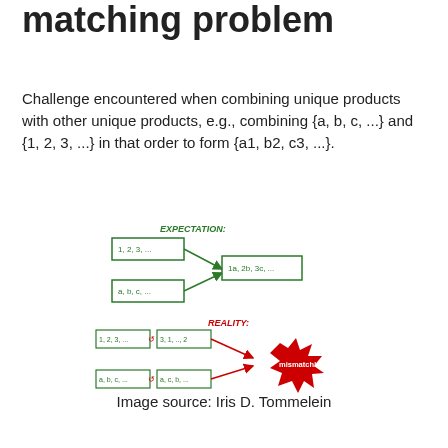matching problem
Challenge encountered when combining unique products with other unique products, e.g., combining {a, b, c, ...} and {1, 2, 3, ...} in that order to form {a1, b2, c3, ...}.
[Figure (infographic): Diagram showing EXPECTATION (top): boxes labeled '1, 2, 3, ...' and 'a, b, c, ...' with arrows merging into a box labeled '1a, 2b, 3c, ...' (green). REALITY (bottom): boxes labeled '1, 2, 3, ...' shuffled to '3, 1, ..., 2' and 'a, b, c, ...' shuffled to 'a, c, b, ...' with arrows pointing to a red starburst labeled 'mismatch!']
Image source: Iris D. Tommelein